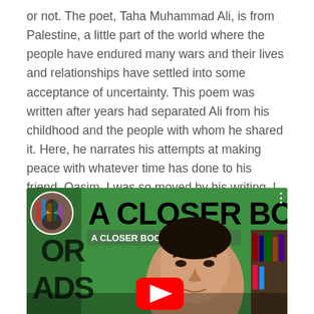or not. The poet, Taha Muhammad Ali, is from Palestine, a little part of the world where the people have endured many wars and their lives and relationships have settled into some acceptance of uncertainty. This poem was written after years had separated Ali from his childhood and the people with whom he shared it. Here, he narrates his attempts at making peace with whatever time has done to his friend, Qasim. I was so moved by his writing, I even recorded a reading of this poem on my YouTube channel.
[Figure (screenshot): YouTube video thumbnail showing 'A CLOSER BOOK| 25 - 27' with a green background, large bold text 'A CLOSER BOOK', a face/portrait visible, a YouTube play button, and an avatar image in the top left corner.]